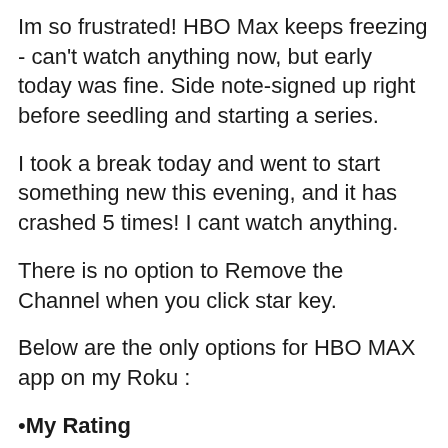Im so frustrated! HBO Max keeps freezing - can't watch anything now, but early today was fine. Side note-signed up right before seedling and starting a series.
I took a break today and went to start something new this evening, and it has crashed 5 times! I cant watch anything.
There is no option to Remove the Channel when you click star key.
Below are the only options for HBO MAX app on my Roku :
•My Rating
•My channel
•Manage subscription
•Check for updates
•Give us feedback
•Cl...